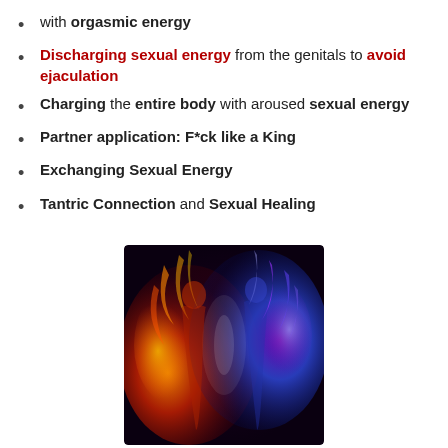with orgasmic energy
Discharging sexual energy from the genitals to avoid ejaculation
Charging the entire body with aroused sexual energy
Partner application: F*ck like a King
Exchanging Sexual Energy
Tantric Connection and Sexual Healing
[Figure (illustration): Abstract illustration of two figures made of fire and smoke — one red/orange and one blue/purple — intertwined against a dark background, suggesting tantric energy exchange.]